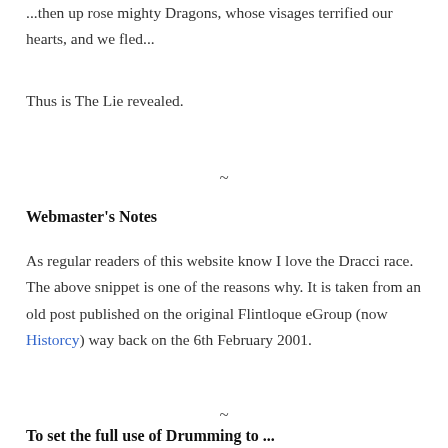...then up rose mighty Dragons, whose visages terrified our hearts, and we fled...
Thus is The Lie revealed.
~
Webmaster's Notes
As regular readers of this website know I love the Dracci race. The above snippet is one of the reasons why. It is taken from an old post published on the original Flintloque eGroup (now Historcy) way back on the 6th February 2001.
~
To set the full use of Drumming to ...